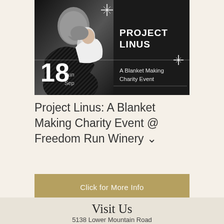[Figure (photo): Event banner for Project Linus: A Blanket Making Charity Event. Black background with a black-and-white photo of a person kissing a baby on the left side. On the right side in white text: 'PROJECT LINUS' in bold, with sparkle/star decorations, a horizontal divider line, and text 'A Blanket Making Charity Event'. Date shown: 18 Sun Sep overlaid on the bottom left.]
Project Linus: A Blanket Making Charity Event @ Freedom Run Winery
Click for More Info
Visit Us
5138 Lower Mountain Road